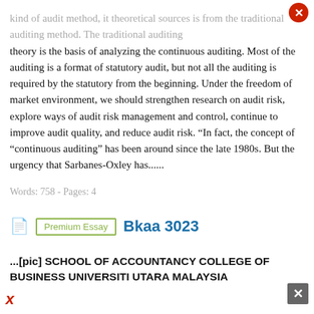kind of audit method, it theoretical sources is from the traditional auditing method. The traditional auditing theory is the basis of analyzing the continuous auditing. Most of the auditing is a format of statutory audit, but not all the auditing is required by the statutory from the beginning. Under the freedom of market environment, we should strengthen research on audit risk, explore ways of audit risk management and control, continue to improve audit quality, and reduce audit risk. “In fact, the concept of “continuous auditing” has been around since the late 1980s. But the urgency that Sarbanes-Oxley has......
Words: 758 - Pages: 4
Bkaa 3023
...[pic] SCHOOL OF ACCOUNTANCY COLLEGE OF BUSINESS UNIVERSITI UTARA MALAYSIA